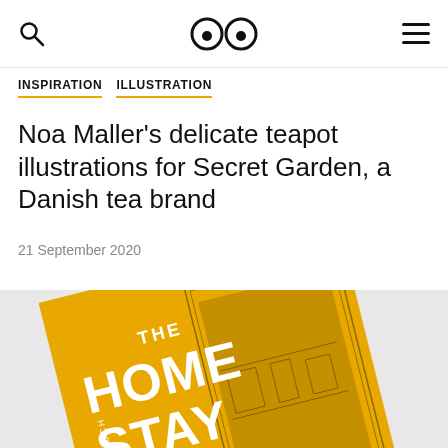INSPIRATION  ILLUSTRATION
Noa Maller's delicate teapot illustrations for Secret Garden, a Danish tea brand
21 September 2020
[Figure (photo): A yellow magazine or book cover titled 'THE HOME STAYER' with 'PRICE: SOMUCH' text, shown at an angle with decorative illustrated border and interior scene visible on the right side.]